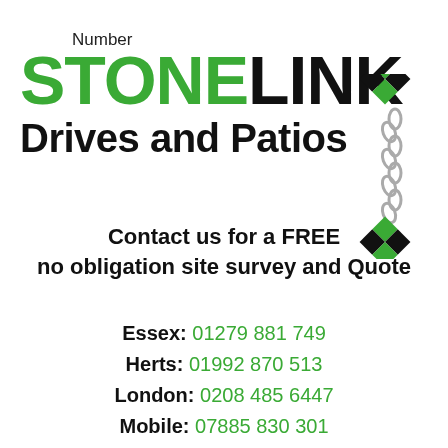[Figure (logo): Number Stonelink Drives and Patios logo with chain and diamond paver graphic]
Contact us for a FREE no obligation site survey and Quote
Essex: 01279 881 749
Herts: 01992 870 513
London: 0208 485 6447
Mobile: 07885 830 301